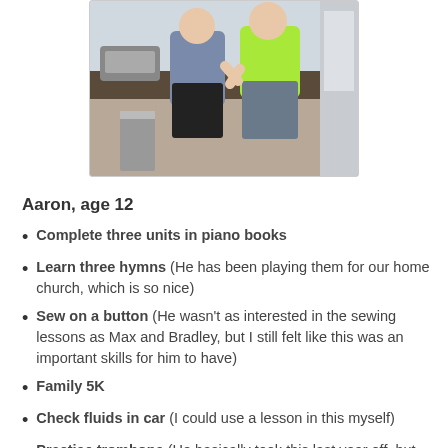[Figure (photo): Two boys standing in a kitchen area near what appears to be a sewing machine on a counter. One wears a blue/grey shirt with black shorts, the other wears a neon green shirt with grey shorts.]
Aaron, age 12
Complete three units in piano books
Learn three hymns (He has been playing them for our home church, which is so nice)
Sew on a button (He wasn't as interested in the sewing lessons as Max and Bradley, but I still felt like this was an important skills for him to have)
Family 5K
Check fluids in car (I could use a lesson in this myself)
Practice trombone (He basically took this last year off, but he would really like to participate in